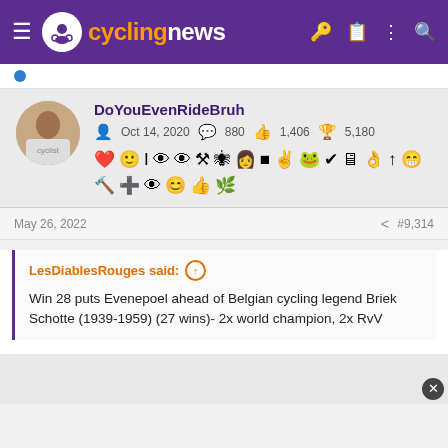cyclingnews
DoYouEvenRideBruh | Oct 14, 2020 | 880 | 1,406 | 5,180
May 26, 2022 #9,314
LesDiablesRouges said: ↑ Win 28 puts Evenepoel ahead of Belgian cycling legend Briek Schotte (1939-1959) (27 wins)- 2x world champion, 2x RvV